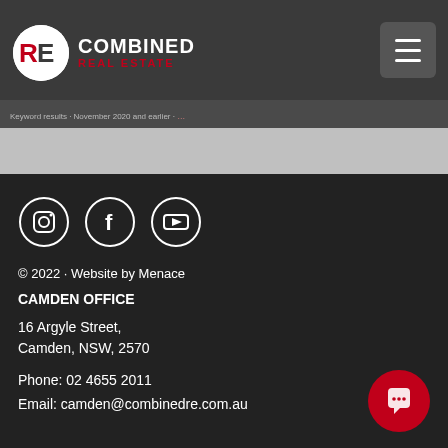[Figure (logo): Combined Real Estate logo with RE circle emblem and text COMBINED REAL ESTATE]
[Figure (other): Hamburger menu button (three horizontal lines) in dark rounded square]
Keyword results - November 2020 and earlier
[Figure (other): Social media icons: Instagram, Facebook, YouTube in circle outlines]
© 2022 · Website by Menace
CAMDEN OFFICE
16 Argyle Street, Camden, NSW, 2570
Phone: 02 4655 2011
Email: camden@combinedre.com.au